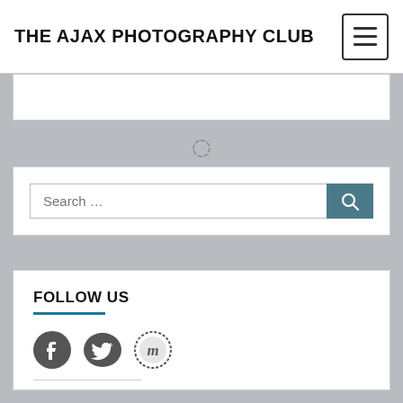THE AJAX PHOTOGRAPHY CLUB
[Figure (screenshot): Loading spinner icon]
Search …
FOLLOW US
[Figure (illustration): Social media icons: Facebook, Twitter, Meetup]